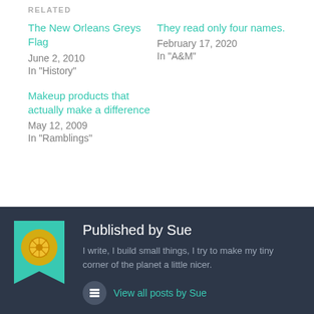RELATED
The New Orleans Greys Flag
June 2, 2010
In "History"
They read only four names.
February 17, 2020
In "A&M"
Makeup products that actually make a difference
May 12, 2009
In "Ramblings"
Published by Sue
I write, I build small things, I try to make my tiny corner of the planet a little nicer.
View all posts by Sue